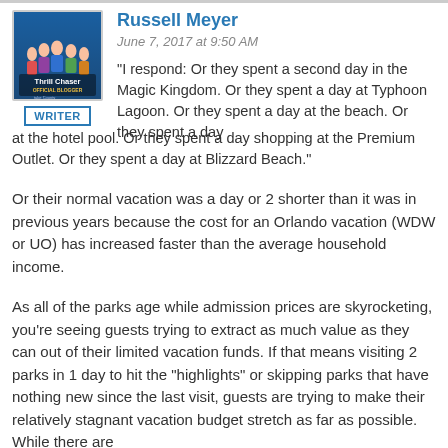[Figure (photo): Avatar image for Russell Meyer showing a group of people on a blue background with 'Thrill Chaser Official Blogger' text, and a 'WRITER' label badge below]
Russell Meyer
June 7, 2017 at 9:50 AM
"I respond: Or they spent a second day in the Magic Kingdom. Or they spent a day at Typhoon Lagoon. Or they spent a day at the beach. Or they spent a day at the hotel pool. Or they spent a day shopping at the Premium Outlet. Or they spent a day at Blizzard Beach."
Or their normal vacation was a day or 2 shorter than it was in previous years because the cost for an Orlando vacation (WDW or UO) has increased faster than the average household income.
As all of the parks age while admission prices are skyrocketing, you're seeing guests trying to extract as much value as they can out of their limited vacation funds. If that means visiting 2 parks in 1 day to hit the "highlights" or skipping parks that have nothing new since the last visit, guests are trying to make their relatively stagnant vacation budget stretch as far as possible. While there are